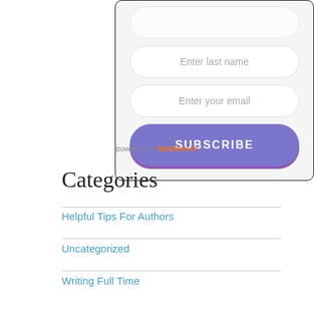[Figure (screenshot): Web form with 'Enter last name' and 'Enter your email' input fields and a purple SUBSCRIBE button, inside a light gray rounded card.]
powered by MailMunch
Categories
Helpful Tips For Authors
Uncategorized
Writing Full Time